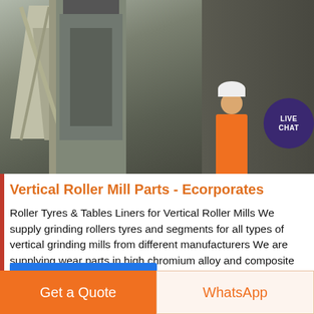[Figure (photo): Industrial facility interior showing large machinery/vertical roller mill equipment with structural steel framework on the left, a large grey processing machine in the center, and a worker in orange hi-vis vest and white hard hat standing in front of the equipment. A 'LIVE CHAT' speech bubble overlay appears in the upper right.]
Vertical Roller Mill Parts - Ecorporates
Roller Tyres & Tables Liners for Vertical Roller Mills We supply grinding rollers tyres and segments for all types of vertical grinding mills from different manufacturers We are supplying wear parts in high chromium alloy and composite metal ceramic We have the ability to produce and supply superior quality tyres and wear segments that .
Sales
Online
Get a Quote
WhatsApp